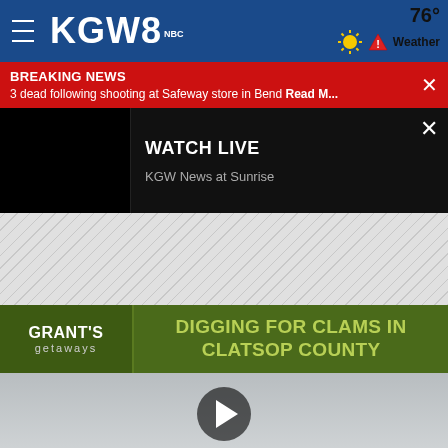KGW8 — 76° Weather
BREAKING NEWS
3 dead following shooting at Safeway store in Bend Read M...
WATCH LIVE
KGW News at Sunrise
[Figure (other): Diagonal gray hatched pattern placeholder area]
[Figure (other): Grant's Getaways banner: DIGGING FOR CLAMS IN CLATSOP COUNTY]
[Figure (other): Video thumbnail with play button overlay]